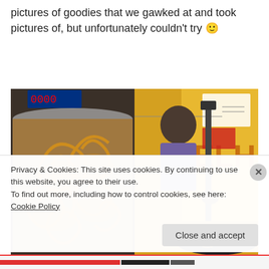pictures of goodies that we gawked at and took pictures of, but unfortunately couldn't try 🙂
[Figure (photo): Two side-by-side food photos: left shows a tray of jalebi (spiral fried sweets); right shows a street vendor with a machine and fried noodle snacks, with 'ELH' visible on a yellow sign]
Privacy & Cookies: This site uses cookies. By continuing to use this website, you agree to their use.
To find out more, including how to control cookies, see here: Cookie Policy
Close and accept